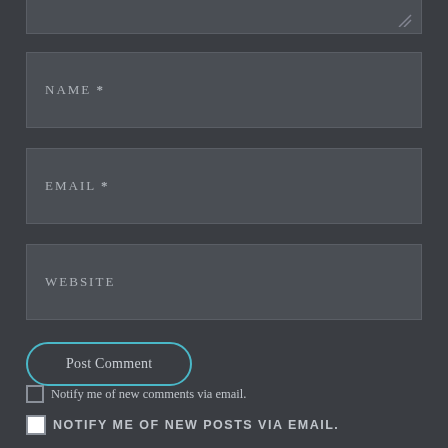[Figure (screenshot): Partial top of a text area input field with a resize handle icon in the bottom-right corner]
NAME *
EMAIL *
WEBSITE
Post Comment
Notify me of new comments via email.
NOTIFY ME OF NEW POSTS VIA EMAIL.